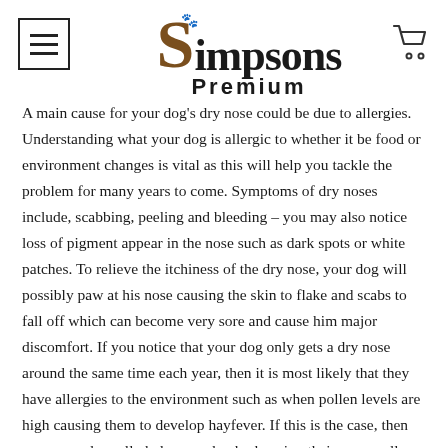Simpsons Premium
A main cause for your dog's dry nose could be due to allergies. Understanding what your dog is allergic to whether it be food or environment changes is vital as this will help you tackle the problem for many years to come. Symptoms of dry noses include, scabbing, peeling and bleeding – you may also notice loss of pigment appear in the nose such as dark spots or white patches. To relieve the itchiness of the dry nose, your dog will possibly paw at his nose causing the skin to flake and scabs to fall off which can become very sore and cause him major discomfort. If you notice that your dog only gets a dry nose around the same time each year, then it is most likely that they have allergies to the environment such as when pollen levels are high causing them to develop hayfever. If this is the case, then you can only really help your dog by keeping their nose well moisturised with a